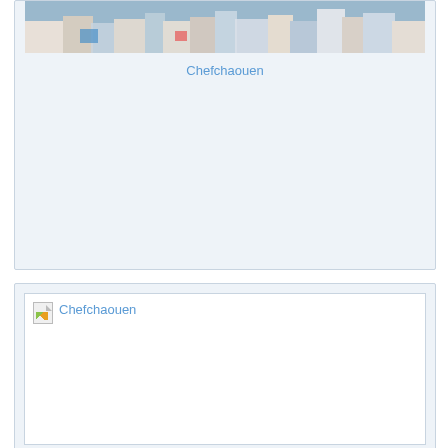[Figure (photo): Top portion of a card showing a photograph of Chefchaouen with colorful blue and white buildings on a hillside]
Chefchaouen
[Figure (photo): Second card showing a broken image placeholder with alt text Chefchaouen and a small broken image icon]